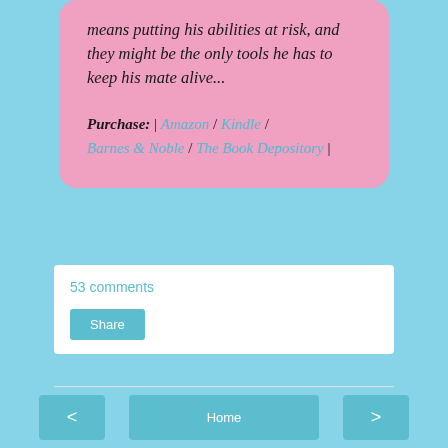means putting his abilities at risk, and they might be the only tools he has to keep his mate alive...
Purchase: | Amazon | Kindle | Barnes & Noble | The Book Depository |
53 comments
Share
< Home >